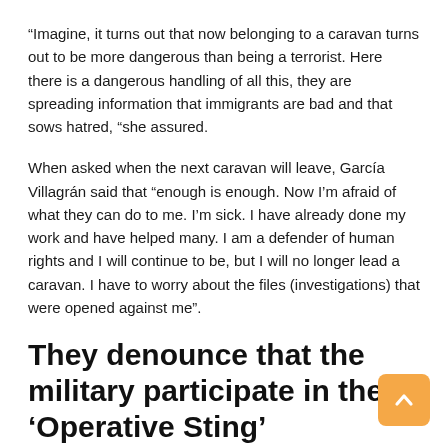“Imagine, it turns out that now belonging to a caravan turns out to be more dangerous than being a terrorist. Here there is a dangerous handling of all this, they are spreading information that immigrants are bad and that sows hatred, “she assured.
When asked when the next caravan will leave, García Villagrán said that “enough is enough. Now I’m afraid of what they can do to me. I’m sick. I have already done my work and have helped many. I am a defender of human rights and I will continue to be, but I will no longer lead a caravan. I have to worry about the files (investigations) that were opened against me”.
They denounce that the military participate in the ‘Operative Sting’
the mexican newspaper the day He said on his website that the military participate in ‘Operation Sting’ and that one of its main objectives is to stop the caravans leaving Tapachula.
In this city bordering Guatemala there are thousands of migrants